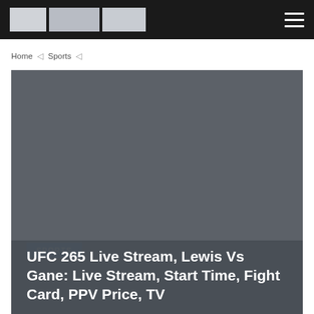Navigation bar with logo and hamburger menu
Home › Sports ›
[Figure (photo): Dark grey hero image area for article, with a 'SPORTS' category badge and article title overlay reading: UFC 265 Live Stream, Lewis Vs Gane: Live Stream, Start Time, Fight Card, PPV Price, TV]
UFC 265 Live Stream, Lewis Vs Gane: Live Stream, Start Time, Fight Card, PPV Price, TV